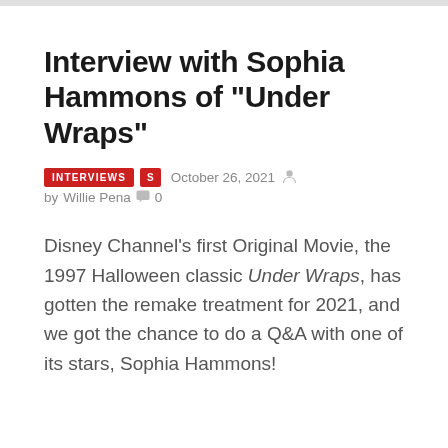Interview with Sophia Hammons of “Under Wraps”
INTERVIEWS  S  October 26, 2021  by Willie Pena  0
Disney Channel’s first Original Movie, the 1997 Halloween classic Under Wraps, has gotten the remake treatment for 2021, and we got the chance to do a Q&A with one of its stars, Sophia Hammons!